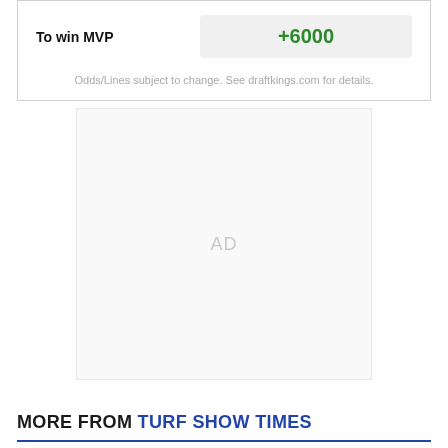|  |  |
| --- | --- |
| To win MVP | +6000 |
Odds/Lines subject to change. See draftkings.com for details.
[Figure (other): Advertisement placeholder box with 'AD' text centered]
MORE FROM TURF SHOW TIMES